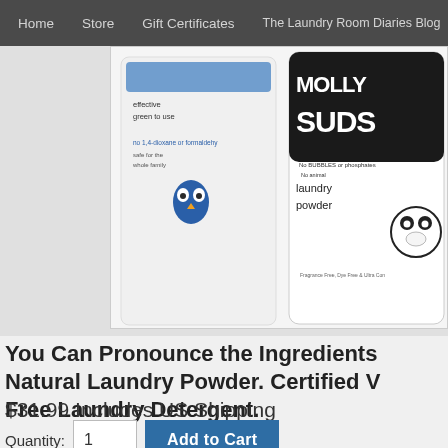Home  Store  Gift Certificates  The Laundry Room Diaries Blog
[Figure (photo): Product photo showing two laundry detergent powder containers: a white bag with blue owl logo and text 'effective green to use, no 1,4-dioxane or formaldehyde', and a white canister with panda logo labeled 'Molly Suds laundry powder, no bubbles or phosphates, no animal ingredients, fragrance free, dye free, ultra concentrated'.]
You Can Pronounce the Ingredients Natural Laundry Powder. Certified V Free Laundry Detergent.
$31.99 Includes US Shipping
Quantity:  1  Add to Cart